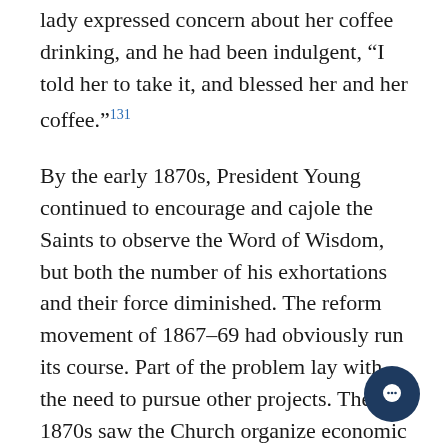lady expressed concern about her coffee drinking, and he had been indulgent, "I told her to take it, and blessed her and her coffee."131
By the early 1870s, President Young continued to encourage and cajole the Saints to observe the Word of Wisdom, but both the number of his exhortations and their force diminished. The reform movement of 1867–69 had obviously run its course. Part of the problem lay with the need to pursue other projects. The 1870s saw the Church organize economic cooperatives and United Orders. It was also a time of institutional growth with the reorganization of the Church's local wards and stakes. President Young also began to improve the opportunities for education in the territory and directed the